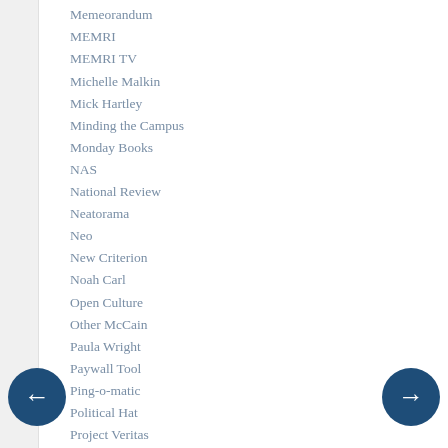Memeorandum
MEMRI
MEMRI TV
Michelle Malkin
Mick Hartley
Minding the Campus
Monday Books
NAS
National Review
Neatorama
Neo
New Criterion
Noah Carl
Open Culture
Other McCain
Paula Wright
Paywall Tool
Ping-o-matic
Political Hat
Project Veritas
Protein Wisdom
Quillette
Real Peer Review
Reason